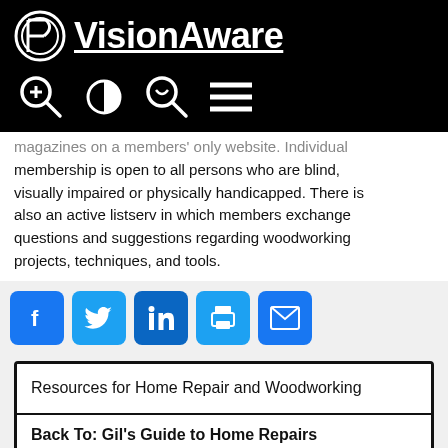APH VisionAware
magazines on a members-only website. Individual membership is open to all persons who are blind, visually impaired or physically handicapped. There is also an active listserv in which members exchange questions and suggestions regarding woodworking projects, techniques, and tools.
[Figure (infographic): Social sharing buttons: Facebook, Twitter, LinkedIn, Print, Email]
Resources for Home Repair and Woodworking
Back To: Gil's Guide to Home Repairs